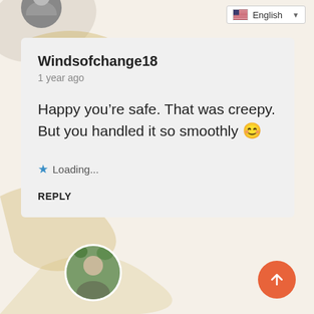[Figure (screenshot): Language selector dropdown showing English with US flag icon]
Windsofchange18
1 year ago
Happy you’re safe. That was creepy. But you handled it so smoothly 😊
★ Loading...
REPLY